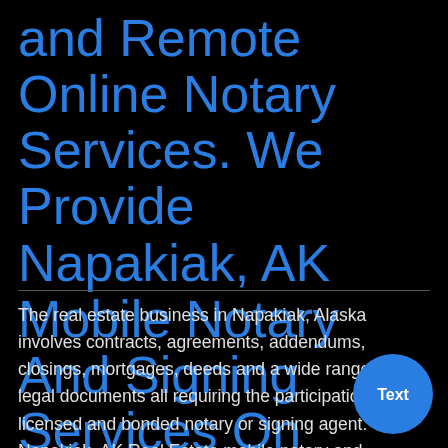and Remote Online Notary Services. We Provide Napakiak, AK Mobile Notary And Signing Services On Behalf Of Real Estate Professionals and Clients
The real estate business in Napakiak, Alaska involves contracts, agreements, addendums, closings, mortgages, deeds and a wide range of legal documents all requiring the participation of a licensed and bonded notary or signing agent. Napakiak, AK Real Estate mobile notary and traveling agents are hardworking professionals who are accustomed to working long hours, are usually asked to work early mornings